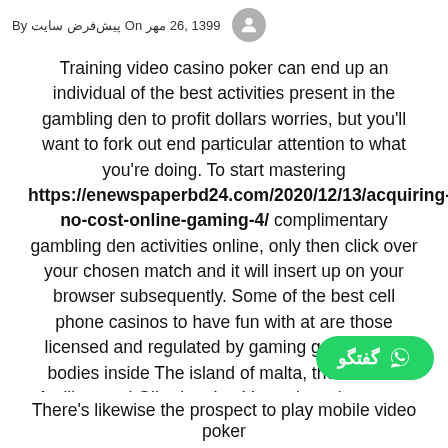By پیش‌فرض سایت  On مهر 26, 1399
Training video casino poker can end up an individual of the best activities present in the gambling den to profit dollars worries, but you'll want to fork out end particular attention to what you're doing. To start mastering https://enewspaperbd24.com/2020/12/13/acquiring-no-cost-online-gaming-4/ complimentary gambling den activities online, only then click over your chosen match and it will insert up on your browser subsequently. Some of the best cell phone casinos to have fun with at are those licensed and regulated by gaming government bodies inside The island of malta, the Holland Antilles, and Gibraltar. LeoVegas is an important long-established online modern casino that might take the stability of its competitors incredibly seriously. In our Casino Globe India critique, you will get everything you need to recognize before you begin taking part in.
گفتگو
There's likewise the prospect to play mobile video poker